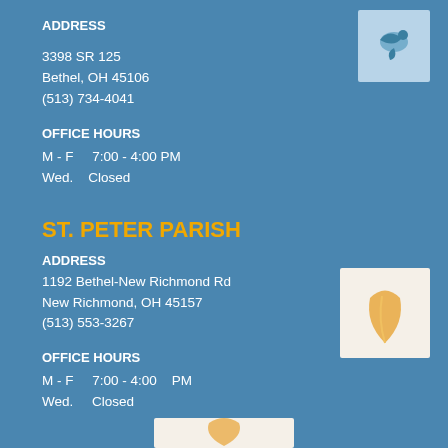[Figure (logo): Parish logo — stylized blue bird/dove in a light blue square, top right corner]
ADDRESS
3398 SR 125
Bethel, OH 45106
(513) 734-4041
OFFICE HOURS
M - F    7:00 - 4:00 PM
Wed.    Closed
ST. PETER PARISH
[Figure (logo): Parish logo — stylized orange/peach leaf or dove on white background square, right side]
ADDRESS
1192 Bethel-New Richmond Rd
New Richmond, OH 45157
(513) 553-3267
OFFICE HOURS
M - F    7:00 - 4:00   PM
Wed.    Closed
[Figure (logo): Partial parish logo visible at bottom center of page]